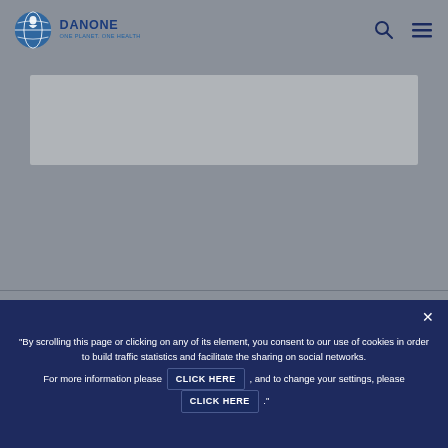Danone - One Planet. One Health
[Figure (logo): Danone logo with globe icon and text 'DANONE ONE PLANET. ONE HEALTH']
[Figure (illustration): Gray rectangle placeholder image area]
About us
Global Overview
"By scrolling this page or clicking on any of its element, you consent to our use of cookies in order to build traffic statistics and facilitate the sharing on social networks. For more information please CLICK HERE , and to change your settings, please CLICK HERE ."